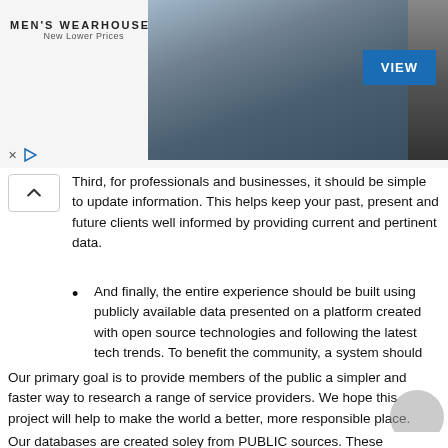[Figure (screenshot): Men's Wearhouse advertisement banner showing a couple in formalwear and a suit with a blue VIEW button]
Third, for professionals and businesses, it should be simple to update information. This helps keep your past, present and future clients well informed by providing current and pertinent data.
And finally, the entire experience should be built using publicly available data presented on a platform created with open source technologies and following the latest tech trends. To benefit the community, a system should constantly change and evolve.
These ideas form the foundation on which ServiceRating.ca was built.
Our vision
Our primary goal is to provide members of the public a simpler and faster way to research a range of service providers. We hope this project will help to make the world a better, more responsible place.
Our databases are created soley from PUBLIC sources. These